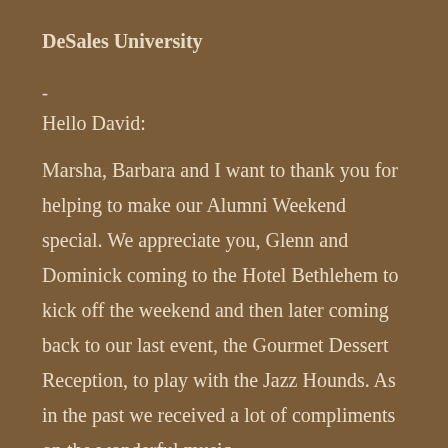DeSales University
-
Hello David:
Marsha, Barbara and I want to thank you for helping to make our Alumni Weekend special. We appreciate you, Glenn and Dominick coming to the Hotel Bethlehem to kick off the weekend and then later coming back to our last event, the Gourmet Dessert Reception, to play with the Jazz Hounds. As in the past we received a lot of compliments on the wonderful music.